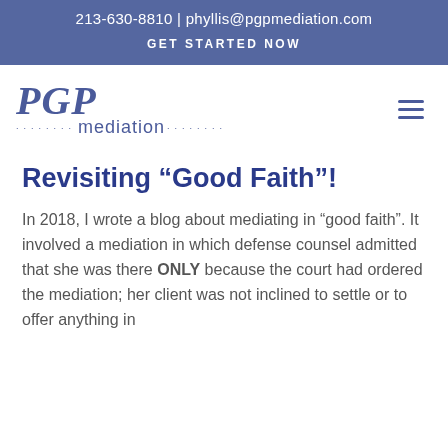213-630-8810 | phyllis@pgpmediation.com
GET STARTED NOW
[Figure (logo): PGP Mediation logo with stylized italic 'PGP' text above dotted 'mediation' wordmark in blue]
Revisiting “Good Faith”!
In 2018, I wrote a blog about mediating in “good faith”. It involved a mediation in which defense counsel admitted that she was there ONLY because the court had ordered the mediation; her client was not inclined to settle or to offer anything in